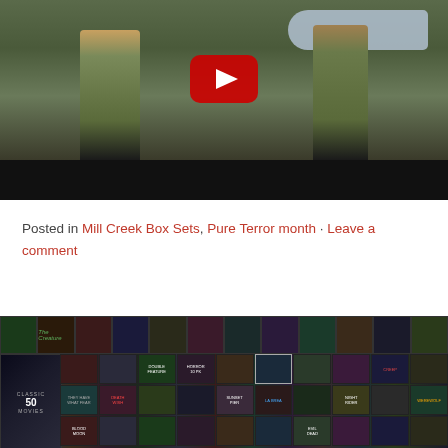[Figure (screenshot): YouTube video thumbnail showing two people standing in front of an airplane, with a red YouTube play button overlay and a black video progress bar at the bottom]
Posted in Mill Creek Box Sets, Pure Terror month · Leave a comment
[Figure (photo): Collage of horror movie DVD/Blu-ray box set covers arranged in a grid, with a large box set on the left side showing a face, and many small movie poster thumbnails filling the rest of the space]